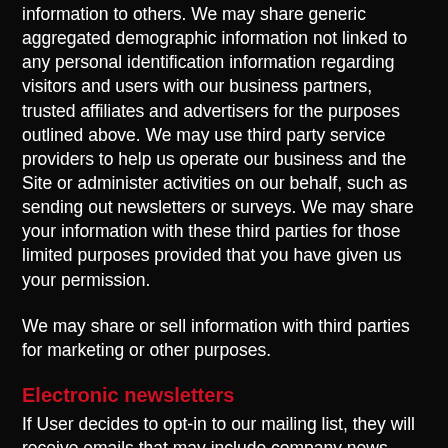information to others. We may share generic aggregated demographic information not linked to any personal identification information regarding visitors and users with our business partners, trusted affiliates and advertisers for the purposes outlined above. We may use third party service providers to help us operate our business and the Site or administer activities on our behalf, such as sending out newsletters or surveys. We may share your information with these third parties for those limited purposes provided that you have given us your permission.
We may share or sell information with third parties for marketing or other purposes.
Electronic newsletters
If User decides to opt-in to our mailing list, they will receive emails that may include company news, updates, related product or service information, etc. We may use third party service providers to help us operate our business and the Site